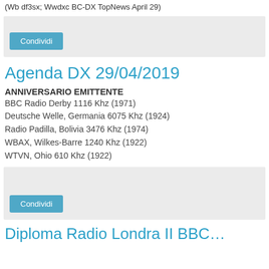(Wb df3sx; Wwdxc BC-DX TopNews April 29)
[Figure (other): Share box with Condividi button, light gray background]
Agenda DX 29/04/2019
ANNIVERSARIO EMITTENTE
BBC Radio Derby 1116 Khz (1971)
Deutsche Welle, Germania 6075 Khz (1924)
Radio Padilla, Bolivia 3476 Khz (1974)
WBAX, Wilkes-Barre 1240 Khz (1922)
WTVN, Ohio 610 Khz (1922)
[Figure (other): Share box with Condividi button, light gray background]
Diploma Radio Londra II BBC